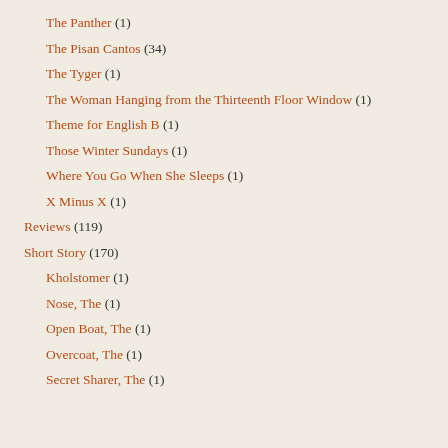The Panther (1)
The Pisan Cantos (34)
The Tyger (1)
The Woman Hanging from the Thirteenth Floor Window (1)
Theme for English B (1)
Those Winter Sundays (1)
Where You Go When She Sleeps (1)
X Minus X (1)
Reviews (119)
Short Story (170)
Kholstomer (1)
Nose, The (1)
Open Boat, The (1)
Overcoat, The (1)
Secret Sharer, The (1)